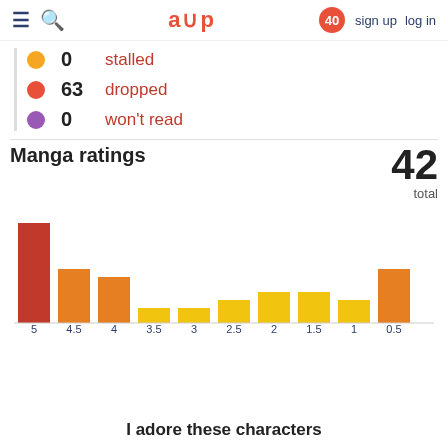≡ 🔍  a∪p  40  sign up  log in
0  stalled
63  dropped
0  won't read
Manga ratings
42 total
[Figure (bar-chart): Manga ratings]
I adore these characters